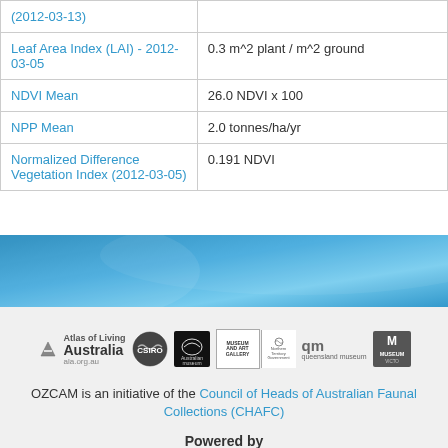| (2012-03-13) |  |
| Leaf Area Index (LAI) - 2012-03-05 | 0.3 m^2 plant / m^2 ground |
| NDVI Mean | 26.0 NDVI x 100 |
| NPP Mean | 2.0 tonnes/ha/yr |
| Normalized Difference Vegetation Index (2012-03-05) | 0.191 NDVI |
[Figure (photo): Blue gradient banner strip used as decorative section separator]
[Figure (logo): Row of partner organization logos: Atlas of Living Australia (ala.org.au), CSIRO, Australian Museum, Museum and Art Gallery Northern Territory Government, qm queensland museum, Museum Victoria]
OZCAM is an initiative of the Council of Heads of Australian Faunal Collections (CHAFC)
Powered by